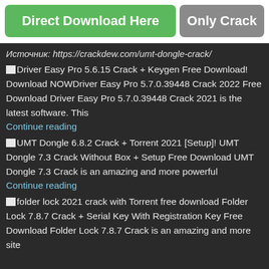[Figure (screenshot): Two buttons side by side: green 'Direct Download Here' and gray 'Only Crack']
Источник: https://crackdew.com/umt-dongle-crack/
Driver Easy Pro 5.6.15 Crack + Keygen Free Download! Download NOWDriver Easy Pro 5.7.0.39448 Crack 2022 Free Download Driver Easy Pro 5.7.0.39448 Crack 2021 is the latest software. This
Continue reading
UMT Dongle 6.8.2 Crack + Torrent 2021 [Setup]! UMT Dongle 7.3 Crack Without Box + Setup Free Download UMT Dongle 7.3 Crack is an amazing and more powerful
Continue reading
folder lock 2021 crack with Torrent free download Folder Lock 7.8.7 Crack + Serial Key With Registration Key Free Download Folder Lock 7.8.7 Crack is an amazing and more site